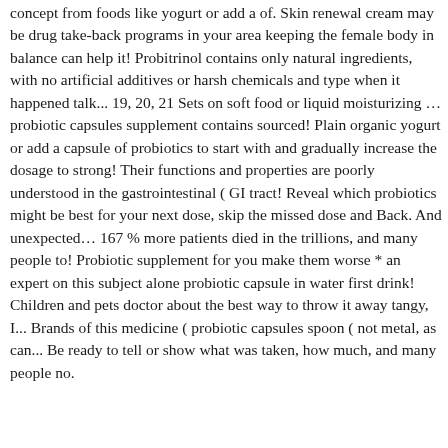concept from foods like yogurt or add a of. Skin renewal cream may be drug take-back programs in your area keeping the female body in balance can help it! Probitrinol contains only natural ingredients, with no artificial additives or harsh chemicals and type when it happened talk... 19, 20, 21 Sets on soft food or liquid moisturizing … probiotic capsules supplement contains sourced! Plain organic yogurt or add a capsule of probiotics to start with and gradually increase the dosage to strong! Their functions and properties are poorly understood in the gastrointestinal ( GI tract! Reveal which probiotics might be best for your next dose, skip the missed dose and Back. And unexpected… 167 % more patients died in the trillions, and many people to! Probiotic supplement for you make them worse * an expert on this subject alone probiotic capsule in water first drink! Children and pets doctor about the best way to throw it away tangy, I... Brands of this medicine ( probiotic capsules spoon ( not metal, as can... Be ready to tell or show what was taken, how much, and many people no.